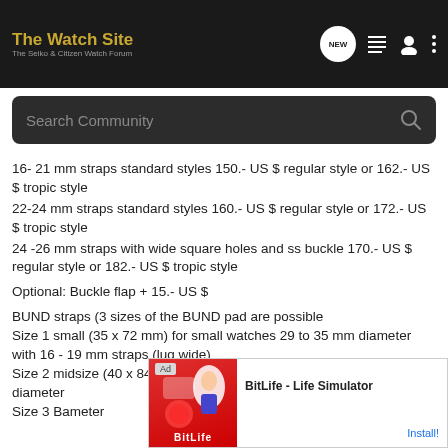The Watch Site - The Seiko & Citizen Watch Forum
16- 21 mm straps standard styles 150.- US $ regular style or 162.- US $ tropic style
22-24 mm straps standard styles 160.- US $ regular style or 172.- US $ tropic style
24 -26 mm straps with wide square holes and ss buckle 170.- US $ regular style or 182.- US $ tropic style
Optional: Buckle flap + 15.- US $
BUND straps (3 sizes of the BUND pad are possible
Size 1 small (35 x 72 mm) for small watches 29 to 35 mm diameter with 16 - 19 mm straps (lug wide)
Size 2 midsize (40 x 84 mm) for midsize watches 35 to 39 mm diameter
Size 3 B... ameter with 19...
[Figure (screenshot): Advertisement overlay for BitLife - Life Simulator app with red background and 'Install!' button]